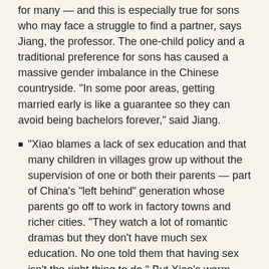for many — and this is especially true for sons who may face a struggle to find a partner, says Jiang, the professor. The one-child policy and a traditional preference for sons has caused a massive gender imbalance in the Chinese countryside. "In some poor areas, getting married early is like a guarantee so they can avoid being bachelors forever," said Jiang.
"Xiao blames a lack of sex education and that many children in villages grow up without the supervision of one or both their parents — part of China's "left behind" generation whose parents go off to work in factory towns and richer cities. "They watch a lot of romantic dramas but they don't have much sex education. No one told them that having sex isn't the right thing to do." But Xiao's warm-hearted images don't pass judgment. They show couples that, for the moment at least, look very much in love.
History of Child Marriage in China
According to "Growing Up Sexually: "In the period till 771 BC, menarche indicated marriageable age; the minimum age was radically raised by Han Confucians. During the Ming